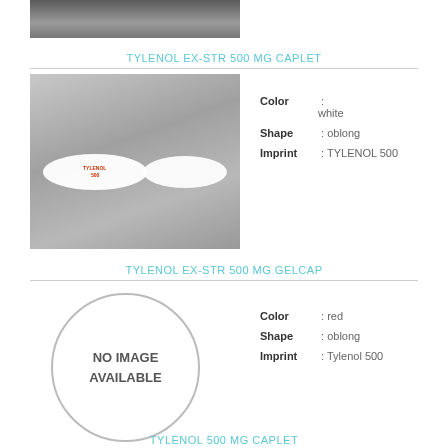[Figure (photo): Partial photo of pills at top of page, cropped]
TYLENOL EX-STR 500 MG CAPLET
[Figure (photo): Photo of two white oblong Tylenol 500 caplets on gray background, one showing imprint TYLENOL 500]
Color : white
Shape : oblong
Imprint : TYLENOL 500
TYLENOL EX-STR 500 MG GELCAP
[Figure (photo): No image available placeholder circle]
Color : red
Shape : oblong
Imprint : Tylenol 500
TYLENOL 500 MG CAPLET (partial, cut off at bottom)